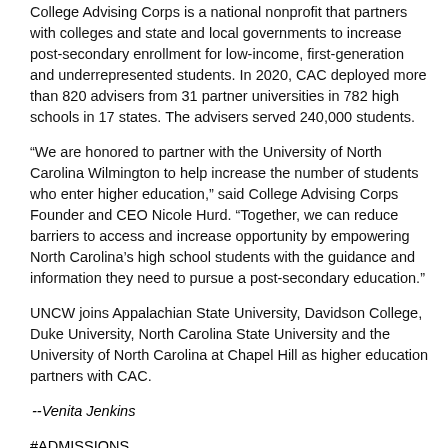College Advising Corps is a national nonprofit that partners with colleges and state and local governments to increase post-secondary enrollment for low-income, first-generation and underrepresented students. In 2020, CAC deployed more than 820 advisers from 31 partner universities in 782 high schools in 17 states. The advisers served 240,000 students.
“We are honored to partner with the University of North Carolina Wilmington to help increase the number of students who enter higher education,” said College Advising Corps Founder and CEO Nicole Hurd. “Together, we can reduce barriers to access and increase opportunity by empowering North Carolina’s high school students with the guidance and information they need to pursue a post-secondary education.”
UNCW joins Appalachian State University, Davidson College, Duke University, North Carolina State University and the University of North Carolina at Chapel Hill as higher education partners with CAC.
--Venita Jenkins
#ADMISSIONS